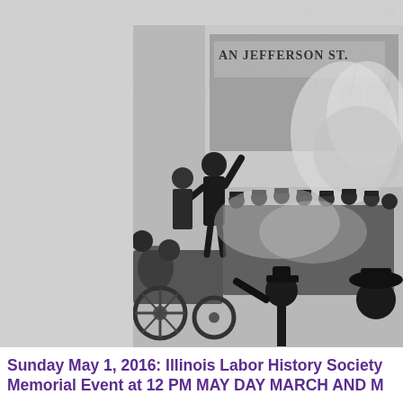ACCOUNT LOGIN
[Figure (illustration): Black and white engraving/illustration of the Haymarket affair scene, showing a man with arm raised on a wagon/cart, a crowd of police officers in uniform, and smoke/chaos in the background. A building sign reading 'AN JEFFERSON ST.' is visible in the upper portion. A figure in the foreground appears to be throwing something.]
Sunday May 1, 2016: Illinois Labor History Society Memorial Event at 12 PM MAY DAY MARCH AND M